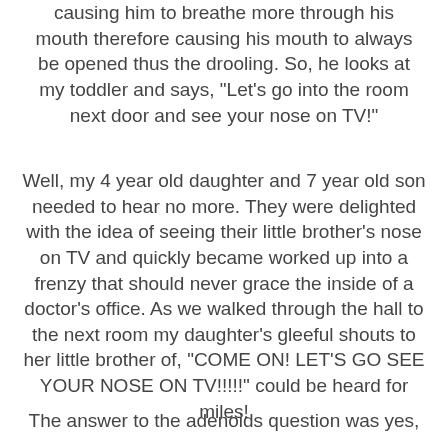causing him to breathe more through his mouth therefore causing his mouth to always be opened thus the drooling. So, he looks at my toddler and says, "Let's go into the room next door and see your nose on TV!"
Well, my 4 year old daughter and 7 year old son needed to hear no more. They were delighted with the idea of seeing their little brother's nose on TV and quickly became worked up into a frenzy that should never grace the inside of a doctor's office. As we walked through the hall to the next room my daughter's gleeful shouts to her little brother of, "COME ON! LET'S GO SEE YOUR NOSE ON TV!!!!!" could be heard for miles!
The answer to the adenoids question was yes,